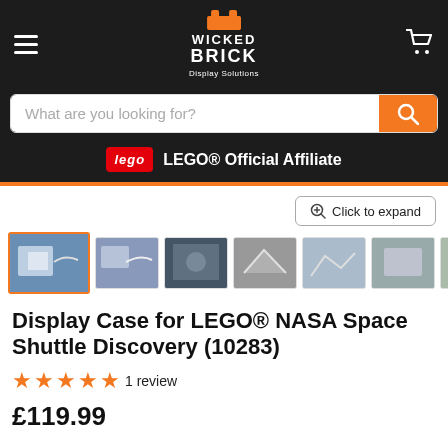[Figure (logo): Wicked Brick Display Solutions logo with orange LEGO-style brick icon on dark background]
What are you looking for?
LEGO® Official Affiliate
Click to expand
[Figure (photo): Product thumbnails showing Display Case for LEGO NASA Space Shuttle Discovery from various angles]
Display Case for LEGO® NASA Space Shuttle Discovery (10283)
★★★★★ 1 review
£119.99